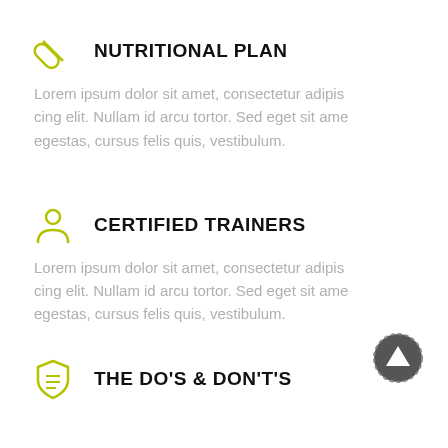NUTRITIONAL PLAN
Lorem ipsum dolor sit amet, consectetur adipiscing elit. Nullam id arcu tortor. Sed eget sit ame egestas, cursus felis quis, vestibulum.
CERTIFIED TRAINERS
Lorem ipsum dolor sit amet, consectetur adipiscing elit. Nullam id arcu tortor. Sed eget sit ame egestas, cursus felis quis, vestibulum.
[Figure (illustration): Back to top arrow button - dark grey circle with white upward arrow]
THE DO'S & DON'T'S